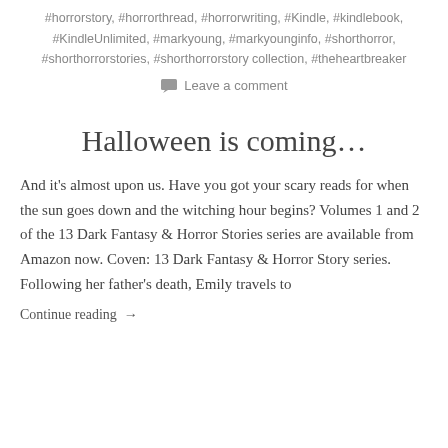#horrorstory, #horrorthread, #horrorwriting, #Kindle, #kindlebook, #KindleUnlimited, #markyoung, #markyounginfo, #shorthorror, #shorthorrorstories, #shorthorrorstory collection, #theheartbreaker
Leave a comment
Halloween is coming…
And it's almost upon us. Have you got your scary reads for when the sun goes down and the witching hour begins? Volumes 1 and 2 of the 13 Dark Fantasy & Horror Stories series are available from Amazon now. Coven: 13 Dark Fantasy & Horror Story series. Following her father's death, Emily travels to
Continue reading →